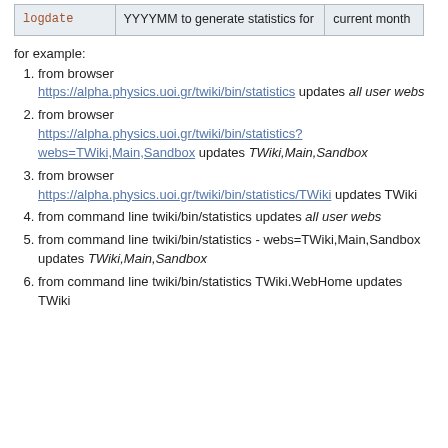| logdate | YYYYMM to generate statistics for | current month |
| --- | --- | --- |
for example:
1. from browser https://alpha.physics.uoi.gr/twiki/bin/statistics updates all user webs
2. from browser https://alpha.physics.uoi.gr/twiki/bin/statistics?webs=TWiki,Main,Sandbox updates TWiki,Main,Sandbox
3. from browser https://alpha.physics.uoi.gr/twiki/bin/statistics/TWiki updates TWiki
4. from command line twiki/bin/statistics updates all user webs
5. from command line twiki/bin/statistics - webs=TWiki,Main,Sandbox updates TWiki,Main,Sandbox
6. from command line twiki/bin/statistics TWiki.WebHome updates TWiki